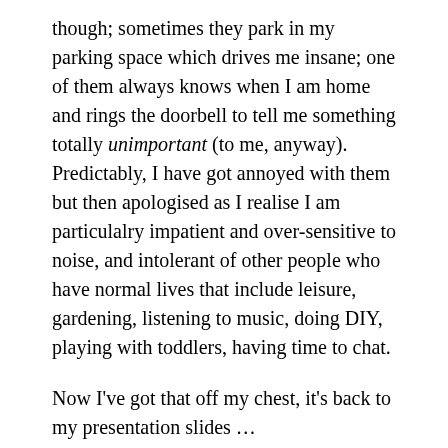though; sometimes they park in my parking space which drives me insane; one of them always knows when I am home and rings the doorbell to tell me something totally unimportant (to me, anyway). Predictably, I have got annoyed with them but then apologised as I realise I am particulalry impatient and over-sensitive to noise, and intolerant of other people who have normal lives that include leisure, gardening, listening to music, doing DIY, playing with toddlers, having time to chat.
Now I've got that off my chest, it's back to my presentation slides …